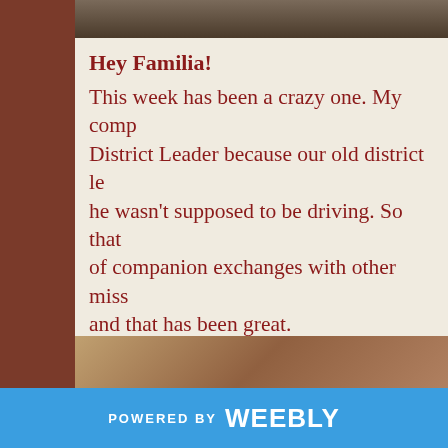[Figure (photo): Partial photo at the top of the page, cropped]
Hey Familia!
This week has been a crazy one. My comp was made District Leader because our old district le... he wasn't supposed to be driving. So that... of companion exchanges with other miss... and that has been great.
Last Tuesday I went to a steak house wit... and the Zone Leaders. Hermano Flores i... super cool to have a STEAK for the first t...
[Figure (photo): Partial photo at the bottom of the page, cropped]
POWERED BY weebly